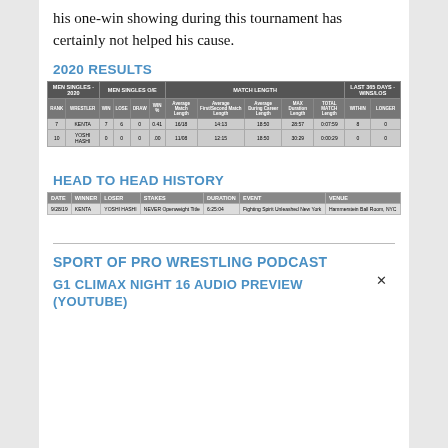his one-win showing during this tournament has certainly not helped his cause.
2020 RESULTS
| MEN SINGLES - 2020 | MEN SINGLES O/E |  |  |  | MATCH LENGTH |  |  |  |  | LAST 365 DAYS - WINS/LOS |
| --- | --- | --- | --- | --- | --- | --- | --- | --- | --- | --- |
| RANK | WRESTLER | WIN | LOSE | DRAW | WIN % | Average Match Length | Average First/Second Match Length | Average During Career Length | MAX Duration Length | TOTAL MATCH Length | WITHIN | LONGER |
| 7 | KENTA | 7 | 6 | 0 | 0.41 | 16/18 | 14:13 | 18:50 | 28:57 | 0:07:59 | 8 | 0 |
| 10 | YOSHI HASHI | 0 | 0 | 0 | .00 | 11/08 | 12:15 | 18:50 | 30:29 | 0:00:29 | 0 | 0 |
HEAD TO HEAD HISTORY
| DATE | WINNER | LOSER | STAKES | DURATION | EVENT | VENUE |
| --- | --- | --- | --- | --- | --- | --- |
| 9/28/19 | KENTA | YOSHI HASHI | NEVER Openweight Title | 6:25:04 | Fighting Spirit Unleashed New York | Hammerstein Ball Room, NYC |
SPORT OF PRO WRESTLING PODCAST
G1 CLIMAX NIGHT 16 AUDIO PREVIEW (YOUTUBE)